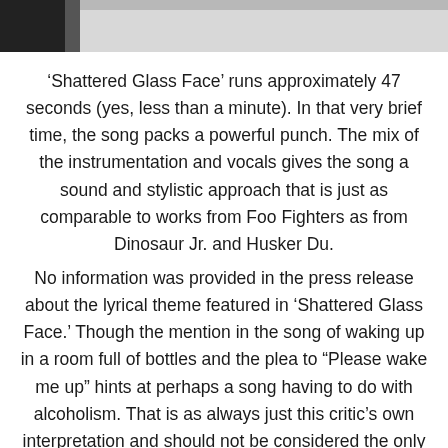[Figure (photo): Partial black and white photograph at top of page, showing a cropped image with dark and gray tones.]
'Shattered Glass Face' runs approximately 47 seconds (yes, less than a minute). In that very brief time, the song packs a powerful punch. The mix of the instrumentation and vocals gives the song a sound and stylistic approach that is just as comparable to works from Foo Fighters as from Dinosaur Jr. and Husker Du.
No information was provided in the press release about the lyrical theme featured in 'Shattered Glass Face.' Though the mention in the song of waking up in a room full of bottles and the plea to “Please wake me up” hints at perhaps a song having to do with alcoholism. That is as always just this critic's own interpretation and should not be considered the only interpretation.